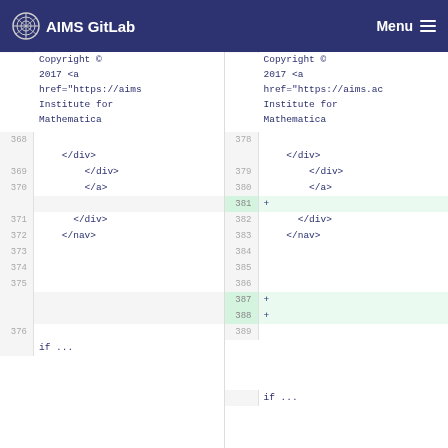AIMS GitLab  Menu
[Figure (screenshot): Side-by-side diff view of HTML source code. Left side shows line numbers 367-376 with content including Copyright notice, </div>, </div>, </a>, </div>, </nav> tags. Right side shows line numbers 377-389 with corresponding code including added lines 381 ('+'), 387 ('+'), 388 ('+').]